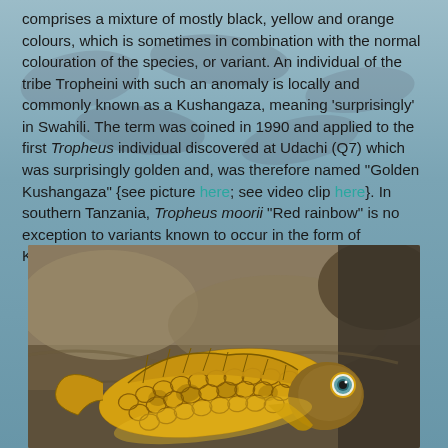comprises a mixture of mostly black, yellow and orange colours, which is sometimes in combination with the normal colouration of the species, or variant. An individual of the tribe Tropheini with such an anomaly is locally and commonly known as a Kushangaza, meaning 'surprisingly' in Swahili. The term was coined in 1990 and applied to the first Tropheus individual discovered at Udachi (Q7) which was surprisingly golden and, was therefore named "Golden Kushangaza" {see picture here; see video clip here}. In southern Tanzania, Tropheus moorii "Red rainbow" is no exception to variants known to occur in the form of Kushangaza {see picture here}.
[Figure (photo): Underwater photograph of a golden/yellow cichlid fish with dark scale patterns, resting near rocks. The fish appears to be a Tropheus moorii Kushangaza variant with bright golden-yellow coloration and dark reticulated markings.]